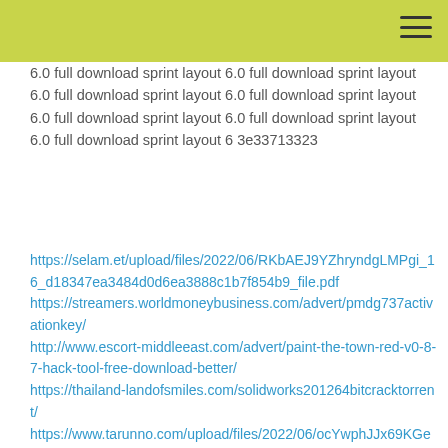≡
6.0 full download sprint layout 6.0 full download sprint layout 6.0 full download sprint layout 6.0 full download sprint layout 6.0 full download sprint layout 6.0 full download sprint layout 6.0 full download sprint layout 6 3e33713323
https://selam.et/upload/files/2022/06/RKbAEJ9YZhryndgLMPgi_16_d18347ea3484d0d6ea3888c1b7f854b9_file.pdf https://streamers.worldmoneybusiness.com/advert/pmdg737activationkey/ http://www.escort-middleeast.com/advert/paint-the-town-red-v0-8-7-hack-tool-free-download-better/ https://thailand-landofsmiles.com/solidworks201264bitcracktorrent/ https://www.tarunno.com/upload/files/2022/06/ocYwphJJx69KGeKBCEJx_16_9452b46e5e9607034a50032af541133e